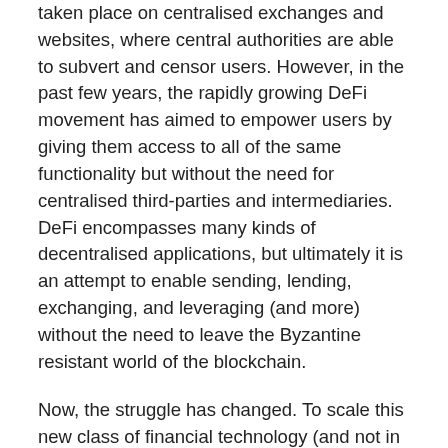taken place on centralised exchanges and websites, where central authorities are able to subvert and censor users. However, in the past few years, the rapidly growing DeFi movement has aimed to empower users by giving them access to all of the same functionality but without the need for centralised third-parties and intermediaries. DeFi encompasses many kinds of decentralised applications, but ultimately it is an attempt to enable sending, lending, exchanging, and leveraging (and more) without the need to leave the Byzantine resistant world of the blockchain.
Now, the struggle has changed. To scale this new class of financial technology (and not in the transactions-per-second kind of way), a major shortcoming of blockchains must be addressed: interoperability. At the time of writing, Bitcoin is 9x larger than Ether, and eclipses all other cryptocurrencies. It is worth more than the next 100 largest cryptocurrencies combined. But, despite its dominance, no general purpose interoperability solution